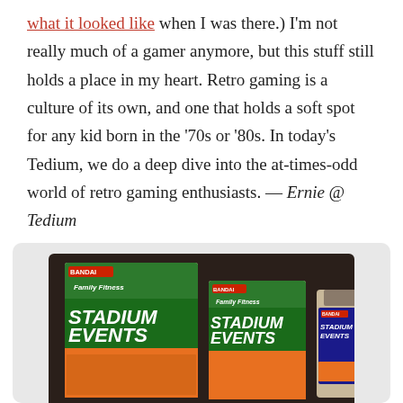what it looked like when I was there.) I'm not really much of a gamer anymore, but this stuff still holds a place in my heart. Retro gaming is a culture of its own, and one that holds a soft spot for any kid born in the '70s or '80s. In today's Tedium, we do a deep dive into the at-times-odd world of retro gaming enthusiasts. — Ernie @ Tedium
[Figure (photo): Three Bandai Family Fitness Stadium Events NES game boxes/cartridges displayed side by side on a dark background. Left: large box version, center: smaller box version, right: cartridge only.]